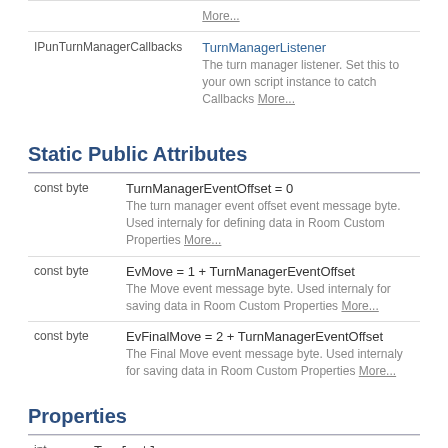| Type | Name/Description |
| --- | --- |
|  | More... |
| IPunTurnManagerCallbacks | TurnManagerListener
The turn manager listener. Set this to your own script instance to catch Callbacks More... |
Static Public Attributes
| Type | Name/Description |
| --- | --- |
| const byte | TurnManagerEventOffset = 0
The turn manager event offset event message byte. Used internaly for defining data in Room Custom Properties More... |
| const byte | EvMove = 1 + TurnManagerEventOffset
The Move event message byte. Used internaly for saving data in Room Custom Properties More... |
| const byte | EvFinalMove = 2 + TurnManagerEventOffset
The Final Move event message byte. Used internaly for saving data in Room Custom Properties More... |
Properties
| Type | Name/Description |
| --- | --- |
| int | Turn[get]
Wraps accessing the "turn" custom properties of a room. More... |